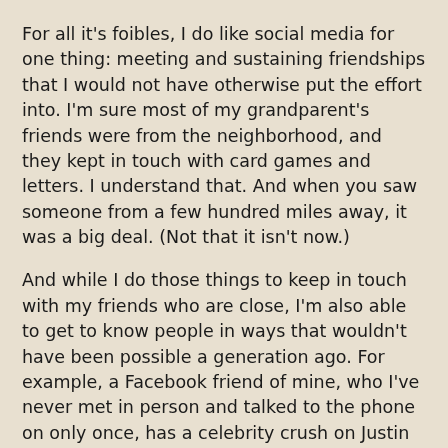For all it's foibles, I do like social media for one thing: meeting and sustaining friendships that I would not have otherwise put the effort into. I'm sure most of my grandparent's friends were from the neighborhood, and they kept in touch with card games and letters. I understand that. And when you saw someone from a few hundred miles away, it was a big deal. (Not that it isn't now.)
And while I do those things to keep in touch with my friends who are close, I'm also able to get to know people in ways that wouldn't have been possible a generation ago. For example, a Facebook friend of mine, who I've never met in person and talked to the phone on only once, has a celebrity crush on Justin Truedeux (?), the hunky Canadian prime minister. I knew this due to her posts ending up on my newsfeed. I saw a magazine cover with him on it. I took a photo of it with my phone and posted it on her Facebook wall. (When you break down steps on social media to basic level, they do sound kind of stupid.) I don't know her immediate reaction, but she “liked” it (or I think even “loved” it.) I guess if I was a closer friend with her, or if I enjoyed the medium, I would send her a Snapchat.